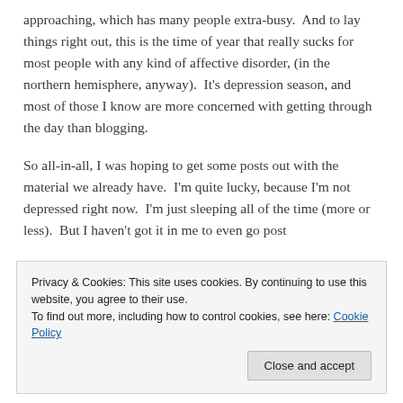approaching, which has many people extra-busy.  And to lay things right out, this is the time of year that really sucks for most people with any kind of affective disorder, (in the northern hemisphere, anyway).  It's depression season, and most of those I know are more concerned with getting through the day than blogging.
So all-in-all, I was hoping to get some posts out with the material we already have.  I'm quite lucky, because I'm not depressed right now.  I'm just sleeping all of the time (more or less).  But I haven't got it in me to even go post
Privacy & Cookies: This site uses cookies. By continuing to use this website, you agree to their use.
To find out more, including how to control cookies, see here: Cookie Policy
great pages; some subjects have pretty in-depth